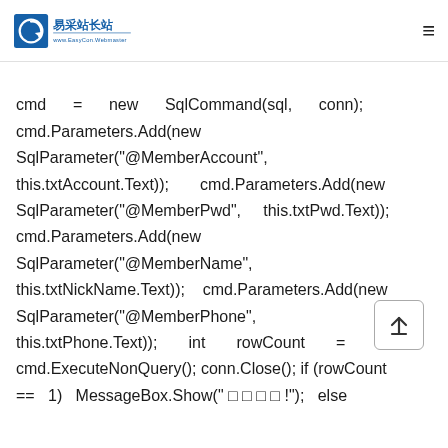易采站长站 — www.EasyCon.Webmaster
cmd = new SqlCommand(sql, conn); cmd.Parameters.Add(new SqlParameter("@MemberAccount", this.txtAccount.Text)); cmd.Parameters.Add(new SqlParameter("@MemberPwd", this.txtPwd.Text)); cmd.Parameters.Add(new SqlParameter("@MemberName", this.txtNickName.Text)); cmd.Parameters.Add(new SqlParameter("@MemberPhone", this.txtPhone.Text)); int rowCount = cmd.ExecuteNonQuery(); conn.Close(); if (rowCount == 1) MessageBox.Show(" □ □ □ □ !"); else